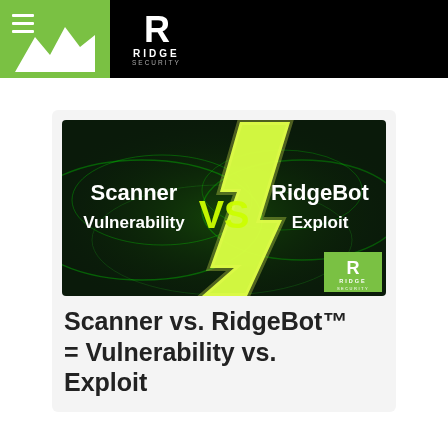Ridge Security
[Figure (illustration): Dark background with green glowing lightning bolt and swirling light trails. Text overlay: 'Scanner VS RidgeBot / Vulnerability    Exploit'. Ridge Security logo in bottom right corner.]
Scanner vs. RidgeBot™ = Vulnerability vs. Exploit